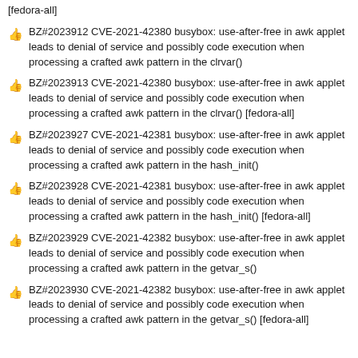[fedora-all]
BZ#2023912 CVE-2021-42380 busybox: use-after-free in awk applet leads to denial of service and possibly code execution when processing a crafted awk pattern in the clrvar()
BZ#2023913 CVE-2021-42380 busybox: use-after-free in awk applet leads to denial of service and possibly code execution when processing a crafted awk pattern in the clrvar() [fedora-all]
BZ#2023927 CVE-2021-42381 busybox: use-after-free in awk applet leads to denial of service and possibly code execution when processing a crafted awk pattern in the hash_init()
BZ#2023928 CVE-2021-42381 busybox: use-after-free in awk applet leads to denial of service and possibly code execution when processing a crafted awk pattern in the hash_init() [fedora-all]
BZ#2023929 CVE-2021-42382 busybox: use-after-free in awk applet leads to denial of service and possibly code execution when processing a crafted awk pattern in the getvar_s()
BZ#2023930 CVE-2021-42382 busybox: use-after-free in awk applet leads to denial of service and possibly code execution when processing a crafted awk pattern in the getvar_s() [fedora-all]